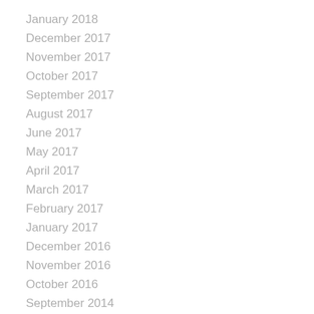January 2018
December 2017
November 2017
October 2017
September 2017
August 2017
June 2017
May 2017
April 2017
March 2017
February 2017
January 2017
December 2016
November 2016
October 2016
September 2014